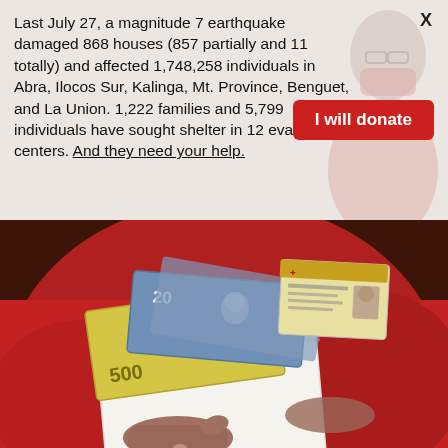Last July 27, a magnitude 7 earthquake damaged 868 houses (857 partially and 11 totally) and affected 1,748,258 individuals in Abra, Ilocos Sur, Kalinga, Mt. Province, Benguet, and La Union. 1,222 families and 5,799 individuals have sought shelter in 12 evacuation centers. And they need your help.
[Figure (photo): Button labeled 'I will donate' in red/dark red with white text]
[Figure (photo): Person in red jacket holding a white envelope stuffed with Philippine peso bills (500 and 20 peso notes) and what appears to be an ID card, photographed from below/front]